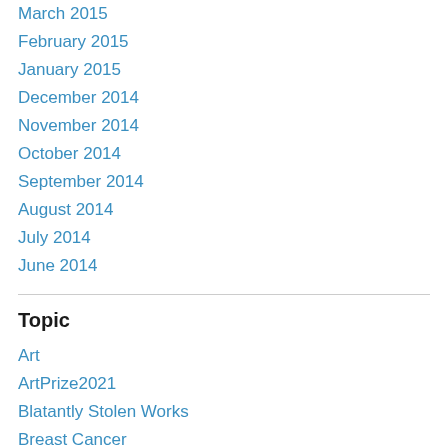March 2015
February 2015
January 2015
December 2014
November 2014
October 2014
September 2014
August 2014
July 2014
June 2014
Topic
Art
ArtPrize2021
Blatantly Stolen Works
Breast Cancer
Challenge Accepted
Click Bait